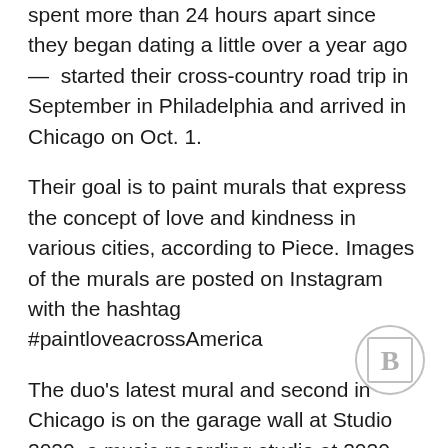spent more than 24 hours apart since they began dating a little over a year ago — started their cross-country road trip in September in Philadelphia and arrived in Chicago on Oct. 1.
Their goal is to paint murals that express the concept of love and kindness in various cities, according to Piece. Images of the murals are posted on Instagram with the hashtag #paintloveacrossAmerica
The duo's latest mural and second in Chicago is on the garage wall at Studio 2020, a music recording studio at 2020 W. Concord Ave. in Bucktown.
The mural is in an alley and not on a main street.